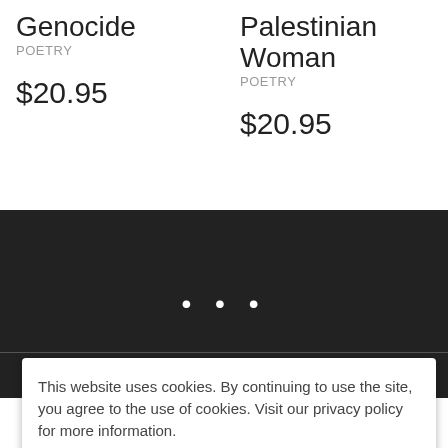Genocide
POETRY
$20.95
Palestinian Woman
POETRY
$20.95
[Figure (other): Dark background section with three white dots indicating loading]
This website uses cookies. By continuing to use the site, you agree to the use of cookies. Visit our privacy policy for more information.